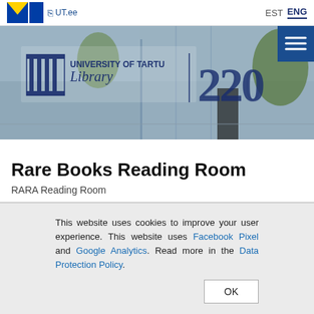UT.ee  EST  ENG
[Figure (photo): University of Tartu Library building exterior with logo, library text, and 220 anniversary marking. Blue menu button at top right.]
Rare Books Reading Room
RARA Reading Room
This website uses cookies to improve your user experience. This website uses Facebook Pixel and Google Analytics. Read more in the Data Protection Policy. OK